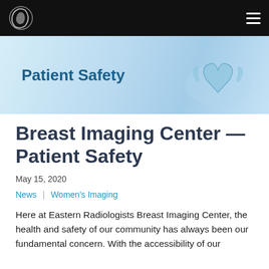Eastern Radiologists – Navigation bar with logo and menu
[Figure (photo): Patient Safety banner with blue medical gloves forming a heart shape on a light blue background]
Breast Imaging Center — Patient Safety
May 15, 2020
News | Women's Imaging
Here at Eastern Radiologists Breast Imaging Center, the health and safety of our community has always been our fundamental concern. With the accessibility of our